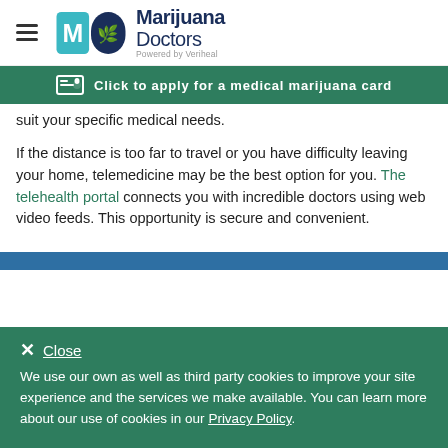Marijuana Doctors — Powered by Veriheal
Click to apply for a medical marijuana card
suit your specific medical needs.
If the distance is too far to travel or you have difficulty leaving your home, telemedicine may be the best option for you. The telehealth portal connects you with incredible doctors using web video feeds. This opportunity is secure and convenient.
Close
We use our own as well as third party cookies to improve your site experience and the services we make available. You can learn more about our use of cookies in our Privacy Policy.